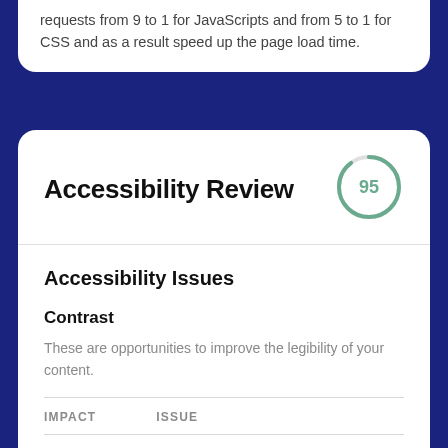requests from 9 to 1 for JavaScripts and from 5 to 1 for CSS and as a result speed up the page load time.
Accessibility Review
Accessibility Issues
Contrast
These are opportunities to improve the legibility of your content.
| IMPACT | ISSUE |
| --- | --- |